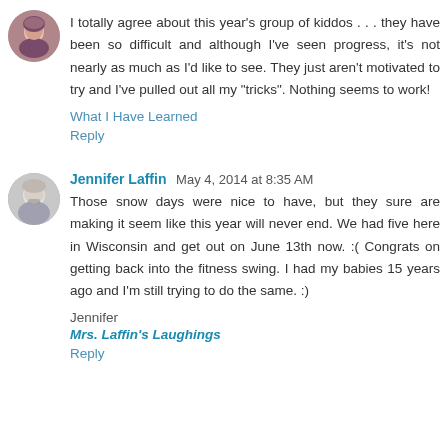[Figure (photo): Round avatar photo of a person, first commenter]
I totally agree about this year's group of kiddos . . . they have been so difficult and although I've seen progress, it's not nearly as much as I'd like to see. They just aren't motivated to try and I've pulled out all my "tricks". Nothing seems to work!
What I Have Learned
Reply
[Figure (photo): Round avatar photo of Jennifer Laffin]
Jennifer Laffin May 4, 2014 at 8:35 AM
Those snow days were nice to have, but they sure are making it seem like this year will never end. We had five here in Wisconsin and get out on June 13th now. :( Congrats on getting back into the fitness swing. I had my babies 15 years ago and I'm still trying to do the same. :)
Jennifer
Mrs. Laffin's Laughings
Reply